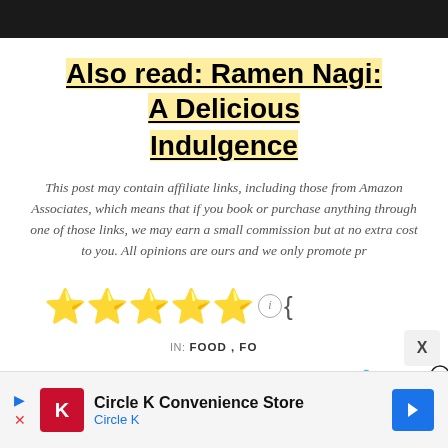[Figure (photo): Dark image strip at top of page]
Also read: Ramen Nagi: A Delicious Indulgence
This post may contain affiliate links, including those from Amazon Associates, which means that if you book or purchase anything through one of those links, we may earn a small commission but at no extra cost to you. All opinions are ours and we only promote pr
[Figure (other): Five yellow star rating with info icon and opening brace symbol]
IN: FOOD, FO
[Figure (other): Share icons row: Twitter bird, T icon, Pocket icon]
[Figure (other): Circle K Convenience Store advertisement at bottom with logo and navigation arrow]